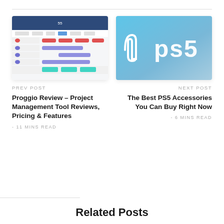[Figure (screenshot): Proggio project management Gantt chart tool screenshot with blue header, red and purple task bars]
PREV POST
Proggio Review – Project Management Tool Reviews, Pricing & Features
- 11 MINS READ
[Figure (logo): PS5 logo on blue gradient background]
NEXT POST
The Best PS5 Accessories You Can Buy Right Now
- 6 MINS READ
Related Posts